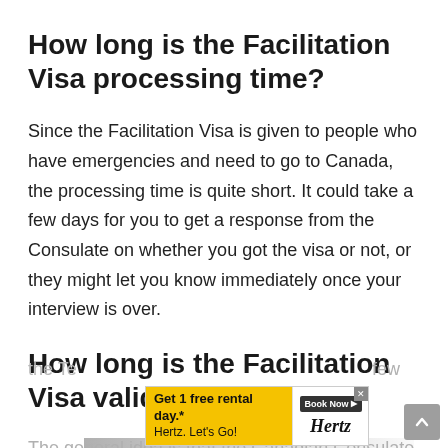How long is the Facilitation Visa processing time?
Since the Facilitation Visa is given to people who have emergencies and need to go to Canada, the processing time is quite short. It could take a few days for you to get a response from the Consulate on whether you got the visa or not, or they might let you know immediately once your interview is over.
How long is the Facilitation Visa valid?
The general idea is that the Canadian Consulate gran... the Te... few
[Figure (infographic): Advertisement banner: 'Get 1 free rental day.* Book Now [play icon] [x] Hertz. Let’s Go! Hertz [logo]' on yellow and white background]